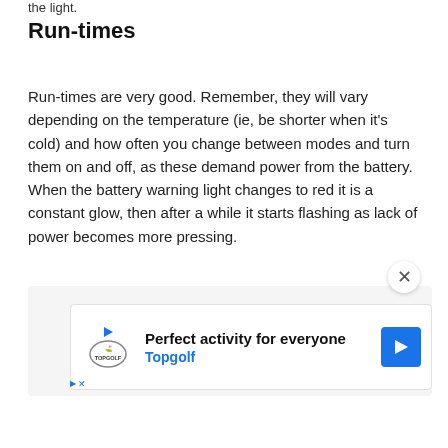the light.
Run-times
Run-times are very good. Remember, they will vary depending on the temperature (ie, be shorter when it's cold) and how often you change between modes and turn them on and off, as these demand power from the battery. When the battery warning light changes to red it is a constant glow, then after a while it starts flashing as lack of power becomes more pressing.
[Figure (other): Advertisement banner for Topgolf: 'Perfect activity for everyone' with Topgolf logo and navigation arrow button]